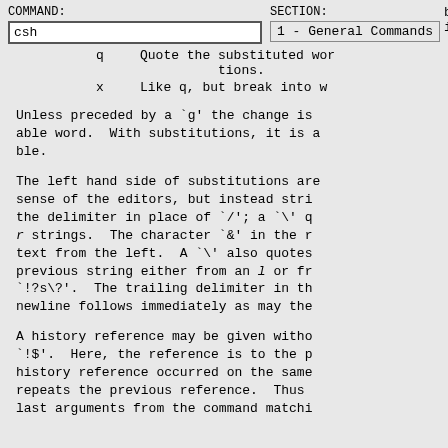COMMAND: csh   SECTION: 1 - General Commands   bove
q   Quote the substituted words, preventing further substitutions.
x   Like q, but break into words.
Unless preceded by a `g' the change is applied to the first modifiable word. With substitutions, it is an error for the pattern to not match. The trailing delimiter in the substitution may be omitted if a newline follows immediately as may the.
The left hand side of substitutions are not regular expressions in the sense of the editors, but instead strings. Any character may be used as the delimiter in place of `/'; a `\' quotes the delimiter. The `l' and `r' strings. The character `&' in the right hand side stands for the text from the left. A `\' also quotes. The `%' stands for the previous string either from an l or from a `s' substitution via `!?s\?'. The trailing delimiter in the substitution may be omitted if a newline follows immediately as may the.
A history reference may be given without an event specification, e.g. `!$'. Here, the reference is to the previous command unless a history reference occurred on the same line in which case it repeats the previous reference. Thus `!$' always refers to the last arguments from the command matching.